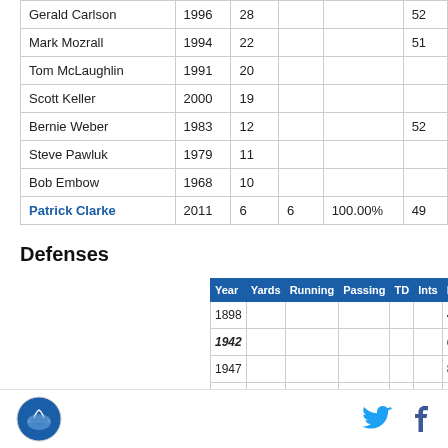| Name | Year |  |  |  |  |
| --- | --- | --- | --- | --- | --- |
| Gerald Carlson | 1996 | 28 |  |  | 52 |
| Mark Mozrall | 1994 | 22 |  |  | 51 |
| Tom McLaughlin | 1991 | 20 |  |  |  |
| Scott Keller | 2000 | 19 |  |  |  |
| Bernie Weber | 1983 | 12 |  |  | 52 |
| Steve Pawluk | 1979 | 11 |  |  |  |
| Bob Embow | 1968 | 10 |  |  |  |
| Patrick Clarke | 2011 | 6 | 6 | 100.00% | 49 |
Defenses
| Year | Yards | Running | Passing | TD | Ints | PPG |
| --- | --- | --- | --- | --- | --- | --- |
| 1898 |  |  |  |  |  | 4.1 |
| 1942 |  |  |  |  |  | 6.5 |
| 1947 |  |  |  |  |  | 8.8 |
Logo | Twitter | Facebook